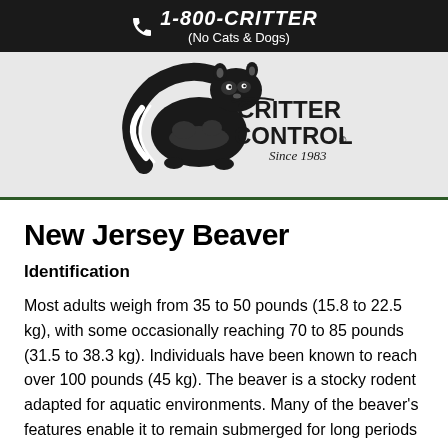1-800-CRITTER (No Cats & Dogs)
[Figure (logo): Critter Control logo with raccoon illustration and text 'CRITTER CONTROL. Since 1983']
New Jersey Beaver
Identification
Most adults weigh from 35 to 50 pounds (15.8 to 22.5 kg), with some occasionally reaching 70 to 85 pounds (31.5 to 38.3 kg). Individuals have been known to reach over 100 pounds (45 kg). The beaver is a stocky rodent adapted for aquatic environments. Many of the beaver's features enable it to remain submerged for long periods of time. It has a valvular nose and ears, and lips that close behind the four large incisor teeth. Each of the four feet have five digits, with the hind feet